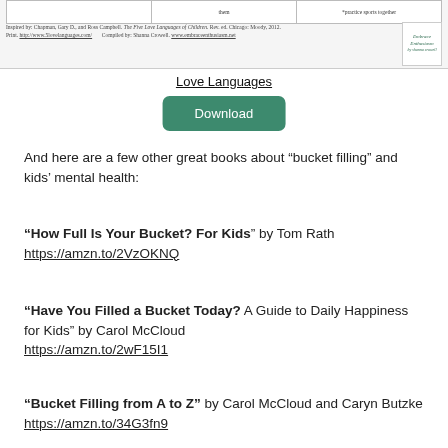[Figure (table-as-image): Top portion of a Love Languages of Children table/chart, partially visible, with footnote attribution and logo]
Love Languages
Download
And here are a few other great books about “bucket filling” and kids’ mental health:
“How Full Is Your Bucket? For Kids” by Tom Rath https://amzn.to/2VzOKNQ
“Have You Filled a Bucket Today? A Guide to Daily Happiness for Kids” by Carol McCloud https://amzn.to/2wF15I1
“Bucket Filling from A to Z” by Carol McCloud and Caryn Butzke https://amzn.to/34G3fn9